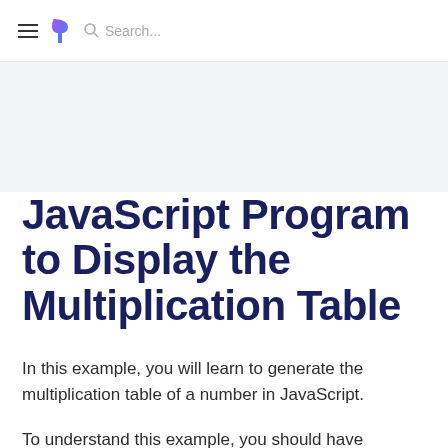≡ ? Search...
JavaScript Program to Display the Multiplication Table
In this example, you will learn to generate the multiplication table of a number in JavaScript.
To understand this example, you should have